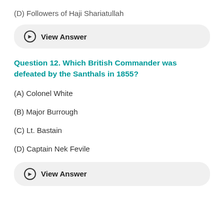(D) Followers of Haji Shariatullah
⊙  View Answer
Question 12. Which British Commander was defeated by the Santhals in 1855?
(A) Colonel White
(B) Major Burrough
(C) Lt. Bastain
(D) Captain Nek Fevile
⊙  View Answer